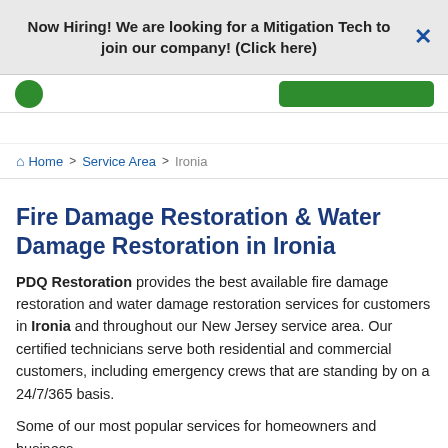Now Hiring! We are looking for a Mitigation Tech to join our company! (Click here)
[Figure (screenshot): Navigation bar with logo and green button]
Home > Service Area > Ironia
Fire Damage Restoration & Water Damage Restoration in Ironia
PDQ Restoration provides the best available fire damage restoration and water damage restoration services for customers in Ironia and throughout our New Jersey service area. Our certified technicians serve both residential and commercial customers, including emergency crews that are standing by on a 24/7/365 basis.
Some of our most popular services for homeowners and business